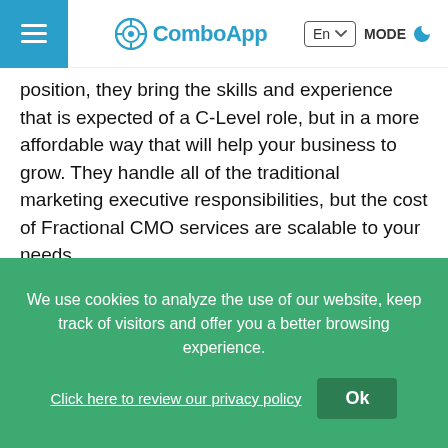ComboApp — En | MODE
position, they bring the skills and experience that is expected of a C-Level role, but in a more affordable way that will help your business to grow. They handle all of the traditional marketing executive responsibilities, but the cost of Fractional CMO services are scalable to your needs.
What Does A Fractional CMO Do?
We use cookies to analyze the use of our website, keep track of visitors and offer you a better browsing experience.
Click here to review our privacy policy  Ok